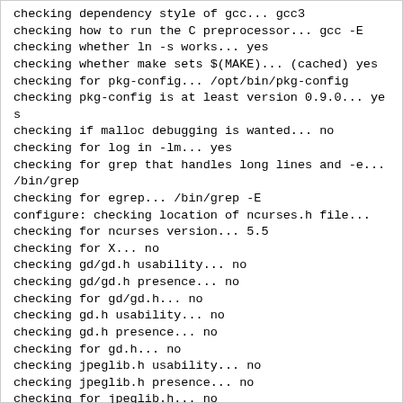checking dependency style of gcc... gcc3
checking how to run the C preprocessor... gcc -E
checking whether ln -s works... yes
checking whether make sets $(MAKE)... (cached) yes
checking for pkg-config... /opt/bin/pkg-config
checking pkg-config is at least version 0.9.0... yes
checking if malloc debugging is wanted... no
checking for log in -lm... yes
checking for grep that handles long lines and -e...
/bin/grep
checking for egrep... /bin/grep -E
configure: checking location of ncurses.h file...
checking for ncurses version... 5.5
checking for X... no
checking gd/gd.h usability... no
checking gd/gd.h presence... no
checking for gd/gd.h... no
checking gd.h usability... no
checking gd.h presence... no
checking for gd.h... no
checking jpeglib.h usability... no
checking jpeglib.h presence... no
checking for jpeglib.h... no
checking sys/io.h usability... yes
checking sys/io.h presence... yes